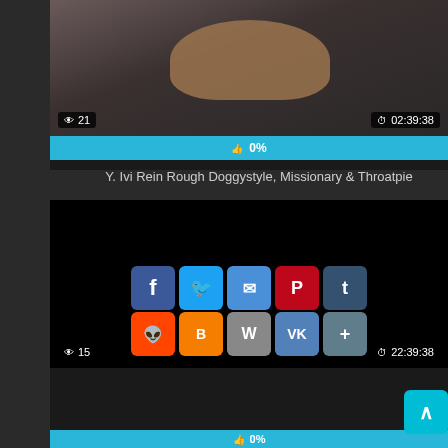[Figure (screenshot): Video thumbnail showing a person with blonde hair on a dark background, with view count badge showing 21 and duration badge showing 02:39:38]
👁 21
⏱ 02:39:38
👍 0%
Y. Ivi Rein Rough Doggystyle, Missionary & Throatpie
[Figure (screenshot): Black video thumbnail with social sharing buttons (Facebook, Twitter, Email, Pinterest, Tumblr, Reddit, Blogger, WordPress, VK, Share), scroll-to-top button, view count 15, duration 22:39:38]
👁 15
⏱ 22:39:38
👍 0%